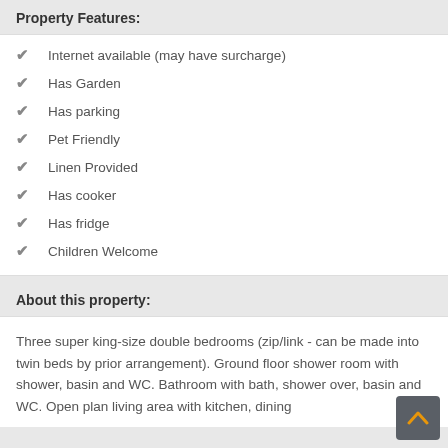Property Features:
Internet available (may have surcharge)
Has Garden
Has parking
Pet Friendly
Linen Provided
Has cooker
Has fridge
Children Welcome
About this property:
Three super king-size double bedrooms (zip/link - can be made into twin beds by prior arrangement). Ground floor shower room with shower, basin and WC. Bathroom with bath, shower over, basin and WC. Open plan living area with kitchen, dining